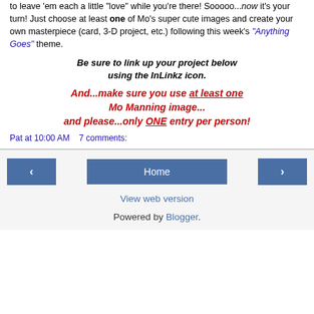to leave 'em each a little "love" while you're there! Sooooo...now it's your turn! Just choose at least one of Mo's super cute images and create your own masterpiece (card, 3-D project, etc.) following this week's "Anything Goes" theme.
Be sure to link up your project below using the InLinkz icon.
And...make sure you use at least one Mo Manning image... and please...only ONE entry per person!
Pat at 10:00 AM   7 comments:
‹  Home  ›
View web version
Powered by Blogger.